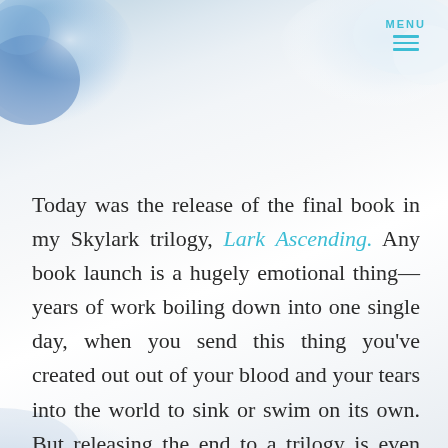MENU
Today was the release of the final book in my Skylark trilogy, Lark Ascending. Any book launch is a hugely emotional thing—years of work boiling down into one single day, when you send this thing you've created out out of your blood and your tears into the world to sink or swim on its own. But releasing the end to a trilogy is even weightier for me, even more overwhelming. I first started telling this story over five years ago and when I think back to where I was five years ago, it's astonishing how much in my life has changed.